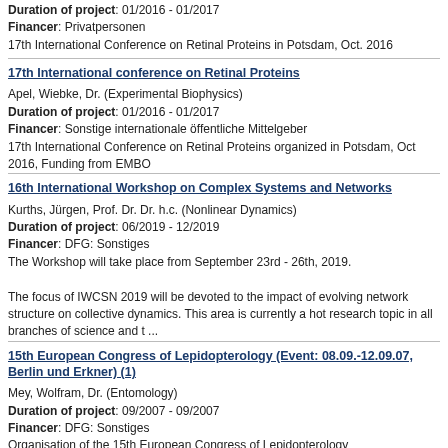Duration of project: 01/2016 - 01/2017
Financer: Privatpersonen
17th International Conference on Retinal Proteins in Potsdam, Oct. 2016
17th International conference on Retinal Proteins
Apel, Wiebke, Dr. (Experimental Biophysics)
Duration of project: 01/2016 - 01/2017
Financer: Sonstige internationale öffentliche Mittelgeber
17th International Conference on Retinal Proteins organized in Potsdam, Oct 2016, Funding from EMBO
16th International Workshop on Complex Systems and Networks
Kurths, Jürgen, Prof. Dr. Dr. h.c. (Nonlinear Dynamics)
Duration of project: 06/2019 - 12/2019
Financer: DFG: Sonstiges
The Workshop will take place from September 23rd - 26th, 2019.

The focus of IWCSN 2019 will be devoted to the impact of evolving network structure on collective dynamics. This area is currently a hot research topic in all branches of science and t ...
15th European Congress of Lepidopterology (Event: 08.09.-12.09.07, Berlin und Erkner) (1)
Mey, Wolfram, Dr. (Entomology)
Duration of project: 09/2007 - 09/2007
Financer: DFG: Sonstiges
Organisation of the 15th European Congress of Lepidopterology
15th European Congress of Lepidopterology (Event: